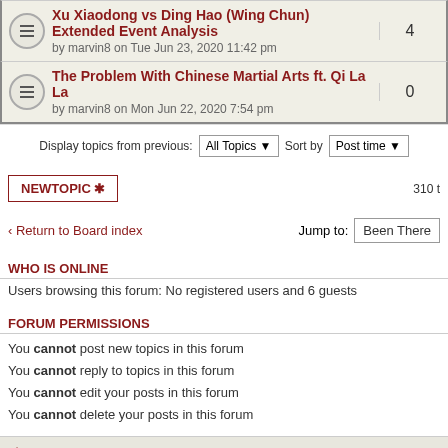Xu Xiaodong vs Ding Hao (Wing Chun) Extended Event Analysis by marvin8 on Tue Jun 23, 2020 11:42 pm — replies: 4
The Problem With Chinese Martial Arts ft. Qi La La by marvin8 on Mon Jun 22, 2020 7:54 pm — replies: 0
Display topics from previous: All Topics  Sort by  Post time
NEWTOPIC *   310 t
Return to Board index   Jump to: Been There
WHO IS ONLINE
Users browsing this forum: No registered users and 6 guests
FORUM PERMISSIONS
You cannot post new topics in this forum
You cannot reply to topics in this forum
You cannot edit your posts in this forum
You cannot delete your posts in this forum
Board index   The team • Delete all
Powered by phpBB © 2000, 2002, 2005, 2007 phpBB